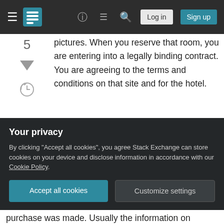Stack Exchange navigation: hamburger menu, logo, help, chat, search, Log in, Sign up
pictures. When you reserve that room, you are entering into a legally binding contract. You are agreeing to the terms and conditions on that site and for the hotel.
Try contesting the charges in court or with the bank and good luck to you. Whether you think it's fair or not, or whether you like the terms and conditions is irrelevant after the fact. Once you've "confirmed" that you agree by hitting the reserve button And sending the merchant your order you are required to uphold your end of the contract.
Your privacy
By clicking "Accept all cookies", you agree Stack Exchange can store cookies on your device and disclose information in accordance with our Cookie Policy.
purchase was made. Usually the information on